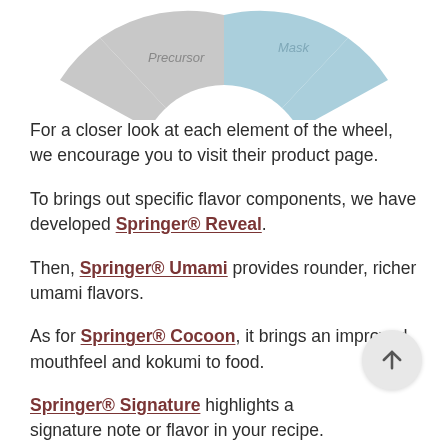[Figure (other): Partial pie/wheel chart visible at top of page, showing segments labeled 'Precursor' and 'Mask' in light grey and light blue colors]
For a closer look at each element of the wheel, we encourage you to visit their product page.
To brings out specific flavor components, we have developed Springer® Reveal.
Then, Springer® Umami provides rounder, richer umami flavors.
As for Springer® Cocoon, it brings an improved mouthfeel and kokumi to food.
Springer® Signature highlights a signature note or flavor in your recipe.
To hide certain unpleasant aftertastes, we have developed Springer® Mask.